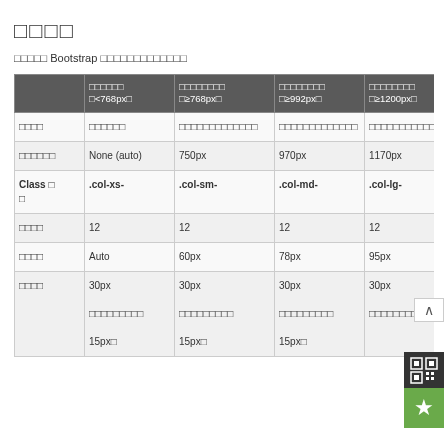□□□□
□□□□□ Bootstrap □□□□□□□□□□□□□
|  | □□□□□□ □<768px□ | □□□□□□□□ □≥768px□ | □□□□□□□□ □≥992px□ | □□□□□□□□ □≥1200px□ |
| --- | --- | --- | --- | --- |
| □□□□ | □□□□□□ | □□□□□□□□□□□□□ | □□□□□□□□□□□□□ | □□□□□□□□□□□□□ |
| □□□□□□ | None (auto) | 750px | 970px | 1170px |
| Class □ □ | .col-xs- | .col-sm- | .col-md- | .col-lg- |
| □□□□ | 12 | 12 | 12 | 12 |
| □□□□ | Auto | 60px | 78px | 95px |
| □□□□ | 30px □□□□□□□□□ 15px□ | 30px □□□□□□□□□ 15px□ | 30px □□□□□□□□□ 15px□ | 30px □□□□□□□□□ 15p |